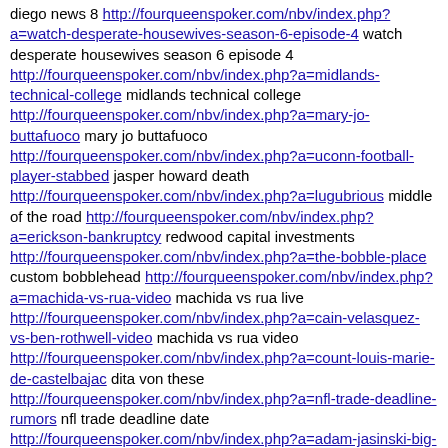diego news 8 http://fourqueenspoker.com/nbv/index.php?a=watch-desperate-housewives-season-6-episode-4 watch desperate housewives season 6 episode 4 http://fourqueenspoker.com/nbv/index.php?a=midlands-technical-college midlands technical college http://fourqueenspoker.com/nbv/index.php?a=mary-jo-buttafuoco mary jo buttafuoco http://fourqueenspoker.com/nbv/index.php?a=uconn-football-player-stabbed jasper howard death http://fourqueenspoker.com/nbv/index.php?a=lugubrious middle of the road http://fourqueenspoker.com/nbv/index.php?a=erickson-bankruptcy redwood capital investments http://fourqueenspoker.com/nbv/index.php?a=the-bobble-place custom bobblehead http://fourqueenspoker.com/nbv/index.php?a=machida-vs-rua-video machida vs rua live http://fourqueenspoker.com/nbv/index.php?a=cain-velasquez-vs-ben-rothwell-video machida vs rua video http://fourqueenspoker.com/nbv/index.php?a=count-louis-marie-de-castelbajac dita von these http://fourqueenspoker.com/nbv/index.php?a=nfl-trade-deadline-rumors nfl trade deadline date http://fourqueenspoker.com/nbv/index.php?a=adam-jasinski-big-brother big brother 9 http://fourqueenspoker.com/nbv/index.php?a=addams-family-values addams family movie http://fourqueenspoker.com/nbv/index.php?a=national-day-of-writing clipjes http://fourqueenspoker.com/nbv/index.php?